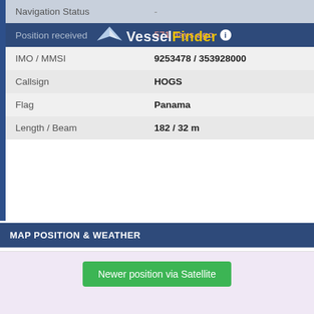| Label | Value |
| --- | --- |
| Navigation Status | - |
| Position received | 571 days ago |
| IMO / MMSI | 9253478 / 353928000 |
| Callsign | HOGS |
| Flag | Panama |
| Length / Beam | 182 / 32 m |
MAP POSITION & WEATHER
[Figure (map): Map area showing vessel position with a light purple/lavender background. A green button labeled 'Newer position via Satellite' is centered in the upper portion of the map area.]